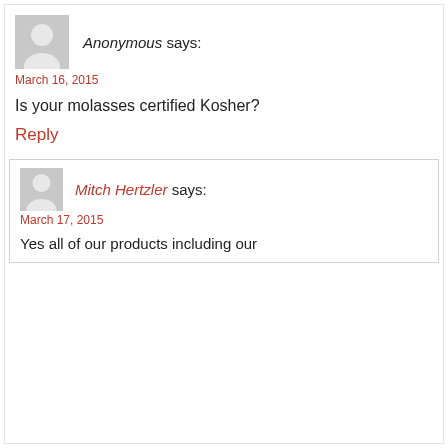[Figure (illustration): Gray placeholder avatar icon for anonymous commenter]
Anonymous says:
March 16, 2015
Is your molasses certified Kosher?
Reply
[Figure (illustration): Gray placeholder avatar icon for Mitch Hertzler]
Mitch Hertzler says:
March 17, 2015
Yes all of our products including our